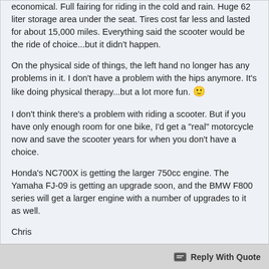economical. Full fairing for riding in the cold and rain. Huge 62 liter storage area under the seat. Tires cost far less and lasted for about 15,000 miles. Everything said the scooter would be the ride of choice...but it didn't happen.

On the physical side of things, the left hand no longer has any problems in it. I don't have a problem with the hips anymore. It's like doing physical therapy...but a lot more fun. 🙂

I don't think there's a problem with riding a scooter. But if you have only enough room for one bike, I'd get a "real" motorcycle now and save the scooter years for when you don't have a choice.

Honda's NC700X is getting the larger 750cc engine. The Yamaha FJ-09 is getting an upgrade soon, and the BMW F800 series will get a larger engine with a number of upgrades to it as well.

Chris
Elnathan - 2014 BMW F800GT
IBA# 49894 True Rounder = 0-20's - Rounder -- to -- 100's+ Red Hot Rounder
John 14:6